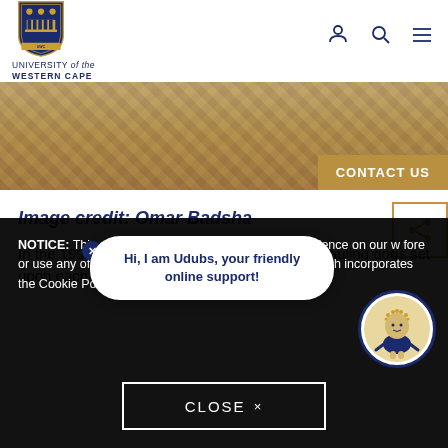[Figure (logo): University of the Western Cape shield logo with text below reading UNIVERSITY of the WESTERN CAPE]
[Figure (photo): Herringbone parquet wood floor photo with CONTACT US button overlay]
Image credit: Omar Badsha
In the 1993 Mgodoyi Series in which a set of mauling dogs set upon each other, we must hear a note of
NOTICE: This site uses cookies to enhance you experience on our w... fore or use any of your pe... our explicit permission. ... Policy, which incorporates the Cookie Policy.
Hi, I am Udubs, your friendly online support!
CLOSE ×